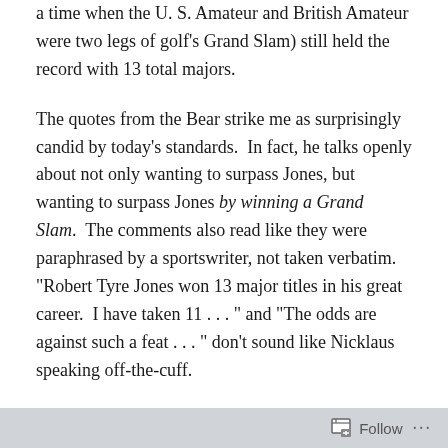a time when the U. S. Amateur and British Amateur were two legs of golf's Grand Slam) still held the record with 13 total majors.
The quotes from the Bear strike me as surprisingly candid by today's standards.  In fact, he talks openly about not only wanting to surpass Jones, but wanting to surpass Jones by winning a Grand Slam.  The comments also read like they were paraphrased by a sportswriter, not taken verbatim.  "Robert Tyre Jones won 13 major titles in his great career.  I have taken 11 . . . " and "The odds are against such a feat . . . " don't sound like Nicklaus speaking off-the-cuff.
The take-home point from the article is that Nicklaus focused on the majors, and other records (including
Follow